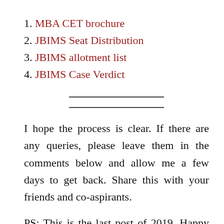1. MBA CET brochure
2. JBIMS Seat Distribution
3. JBIMS allotment list
4. JBIMS Case Verdict
I hope the process is clear. If there are any queries, please leave them in the comments below and allow me a few days to get back. Share this with your friends and co-aspirants.
PS: This is the last post of 2019. Happy new year to all the readers! May you all get through your dream institutes and find